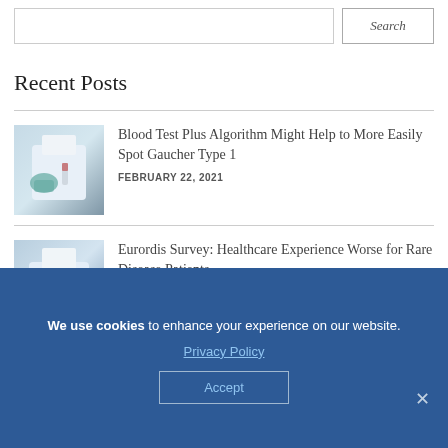[Figure (other): Search bar with input field and Search button]
Recent Posts
[Figure (photo): Medical professional with lab equipment, blood test context]
Blood Test Plus Algorithm Might Help to More Easily Spot Gaucher Type 1
FEBRUARY 22, 2021
[Figure (photo): Healthcare professional with medical shield icon, rare disease context]
Eurordis Survey: Healthcare Experience Worse for Rare Disease Patients
We use cookies to enhance your experience on our website. Privacy Policy Accept